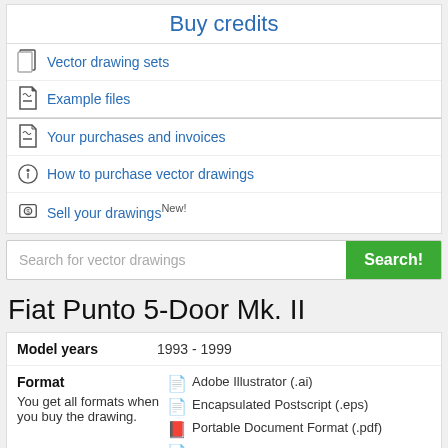Buy credits
Vector drawing sets
Example files
Your purchases and invoices
How to purchase vector drawings
Sell your drawings New!
Search for vector drawings
Fiat Punto 5-Door Mk. II
| Field | Value |
| --- | --- |
| Model years | 1993 - 1999 |
| Format
You get all formats when you buy the drawing. | Adobe Illustrator (.ai)
Encapsulated Postscript (.eps)
Portable Document Format (.pdf) |